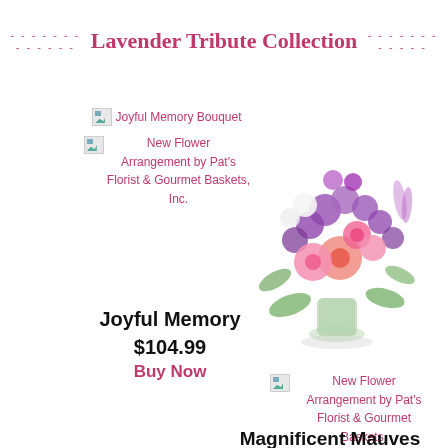Lavender Tribute Collection
[Figure (photo): Broken image placeholder for Joyful Memory Bouquet and New Flower Arrangement by Pat's Florist & Gourmet Baskets, Inc.]
Joyful Memory
$104.99
Buy Now
[Figure (photo): Flower bouquet with purple, pink, and white flowers in a glass vase]
[Figure (photo): Broken image placeholder for New Flower Arrangement by Pat's Florist & Gourmet Baskets, Inc.]
Magnificent Mauves